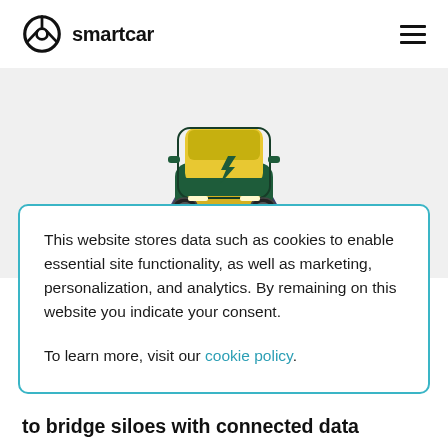smartcar
[Figure (illustration): Illustration of a green electric car driving on a road, viewed from the front-top perspective, with yellow roof panels and a lightning bolt symbol on the car.]
This website stores data such as cookies to enable essential site functionality, as well as marketing, personalization, and analytics. By remaining on this website you indicate your consent.
To learn more, visit our cookie policy.
to bridge siloes with connected data